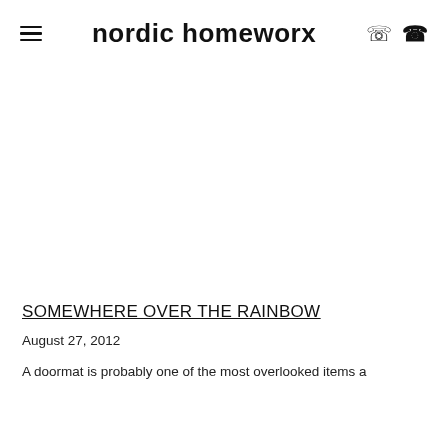nordic homeworx
SOMEWHERE OVER THE RAINBOW
August 27, 2012
A doormat is probably one of the most overlooked items a homeowner can buy.